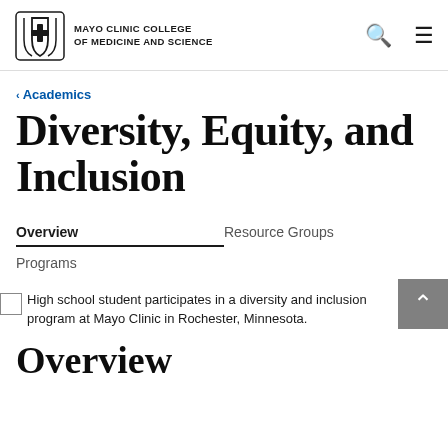MAYO CLINIC COLLEGE OF MEDICINE AND SCIENCE
< Academics
Diversity, Equity, and Inclusion
Overview
Resource Groups
Programs
High school student participates in a diversity and inclusion program at Mayo Clinic in Rochester, Minnesota.
Overview